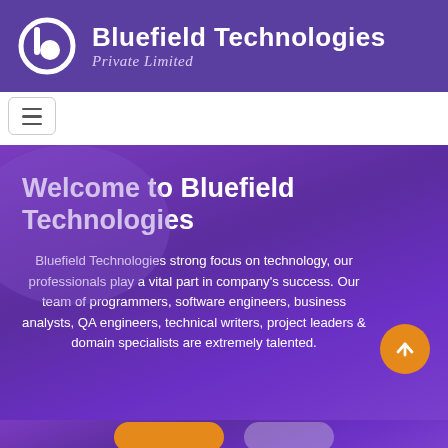[Figure (logo): Bluefield Technologies Private Limited company logo — white stylized 'b' icon on purple background, with company name in white bold text and italic 'Private Limited' subtitle]
[Figure (screenshot): Hamburger menu button (three horizontal lines) in a rounded rectangle border]
Welcome to Bluefield Technologies
Bluefield Technologies strong focus on technology, our professionals play a vital part in company's success. Our team of programmers, software engineers, business analysts, QA engineers, technical writers, project leaders & domain specialists are extremely talented.